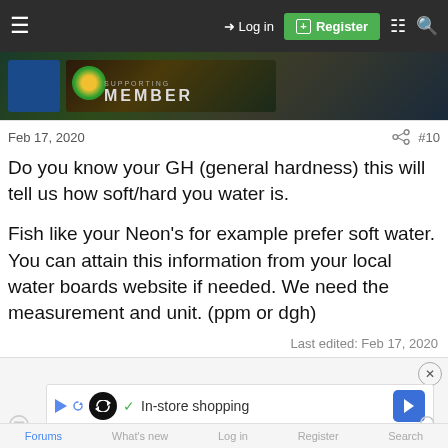≡   →) Log in   [+] Register
[Figure (screenshot): Forum member badge banner with fish/Brazil imagery and 'MEMBER' text]
Feb 17, 2020   #10
Do you know your GH (general hardness) this will tell us how soft/hard you water is.
Fish like your Neon's for example prefer soft water. You can attain this information from your local water boards website if needed. We need the measurement and unit. (ppm or dgh)
Last edited: Feb 17, 2020
[Figure (screenshot): Advertisement bar with loop icon, checkmark, In-store shopping text, and navigation arrow]